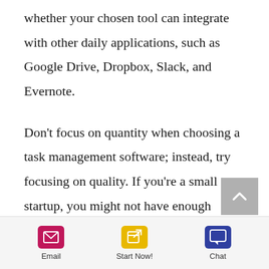whether your chosen tool can integrate with other daily applications, such as Google Drive, Dropbox, Slack, and Evernote.
Don't focus on quantity when choosing a task management software; instead, try focusing on quality. If you're a small startup, you might not have enough budget to opt for more expensive task
[Figure (other): Bottom navigation bar with Email (pink envelope icon), Start Now! (yellow edit icon), and Chat (blue chat bubble icon) buttons]